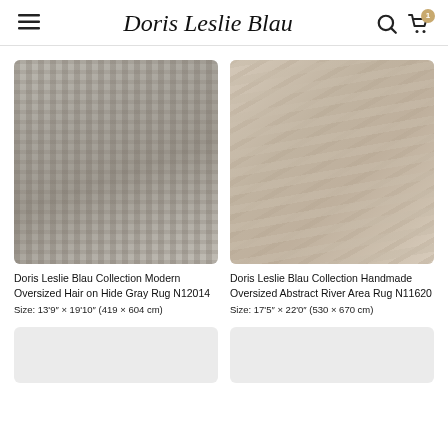Doris Leslie Blau
[Figure (photo): Gray mosaic/patchwork hair-on-hide rug with brick-like pattern in gray tones]
Doris Leslie Blau Collection Modern Oversized Hair on Hide Gray Rug N12014
Size: 13'9" × 19'10" (419 × 604 cm)
[Figure (photo): Beige/taupe abstract wavy river-pattern area rug in soft neutral tones]
Doris Leslie Blau Collection Handmade Oversized Abstract River Area Rug N11620
Size: 17'5" × 22'0" (530 × 670 cm)
[Figure (photo): Partially visible rug product image placeholder (bottom left)]
[Figure (photo): Partially visible rug product image placeholder (bottom right)]